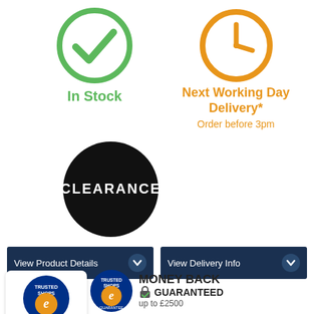[Figure (illustration): Green checkmark circle icon labeled In Stock]
[Figure (illustration): Orange clock icon with text Next Working Day Delivery* Order before 3pm]
[Figure (illustration): Black circle with white text CLEARANCE]
[Figure (illustration): View Product Details button with chevron]
[Figure (illustration): View Delivery Info button with chevron]
[Figure (logo): Trusted Shops e-badge small with 4 and a half stars rating 4.93]
[Figure (logo): Trusted Shops Money Back Guaranteed up to £2500 badge with 5 stars]